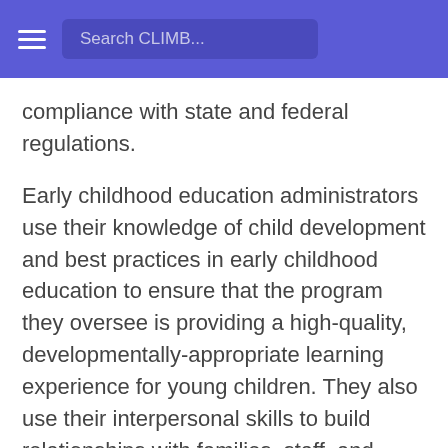Search CLIMB...
compliance with state and federal regulations.
Early childhood education administrators use their knowledge of child development and best practices in early childhood education to ensure that the program they oversee is providing a high-quality, developmentally-appropriate learning experience for young children. They also use their interpersonal skills to build relationships with families, staff, and other stakeholders, and their leadership skills to manage and motivate a team of educators.